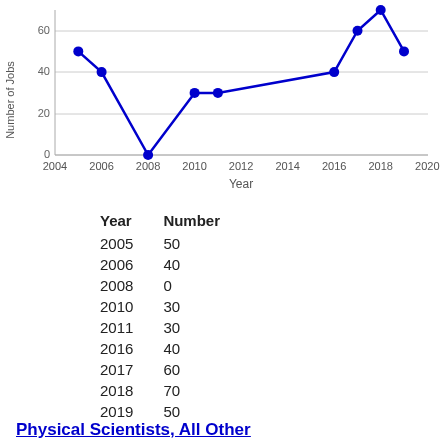[Figure (line-chart): ]
| Year | Number |
| --- | --- |
| 2005 | 50 |
| 2006 | 40 |
| 2008 | 0 |
| 2010 | 30 |
| 2011 | 30 |
| 2016 | 40 |
| 2017 | 60 |
| 2018 | 70 |
| 2019 | 50 |
Physical Scientists, All Other